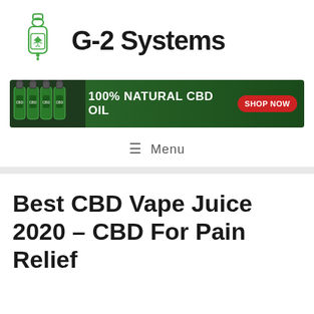[Figure (logo): G-2 Systems logo with green CBD oil bottle and cannabis leaf icon on the left, and stylized 'G-2 Systems' text in bold handwritten font on the right]
[Figure (infographic): Banner advertisement for 100% Natural CBD Oil with CBD oil bottles on the left, green background, white bold text '100% NATURAL CBD OIL', and a red pill-shaped button reading 'SHOP NOW']
≡ Menu
Best CBD Vape Juice 2020 – CBD For Pain Relief